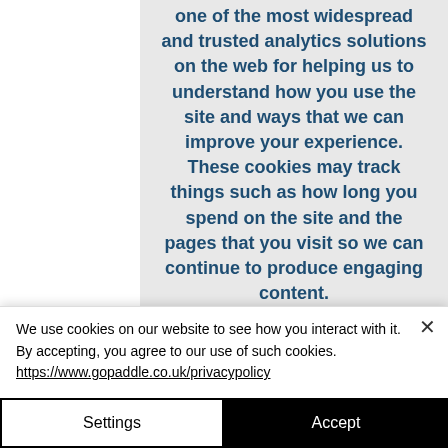one of the most widespread and trusted analytics solutions on the web for helping us to understand how you use the site and ways that we can improve your experience. These cookies may track things such as how long you spend on the site and the pages that you visit so we can continue to produce engaging content.
MORE INFORMATION
We use cookies on our website to see how you interact with it. By accepting, you agree to our use of such cookies. https://www.gopaddle.co.uk/privacypolicy
Settings
Accept